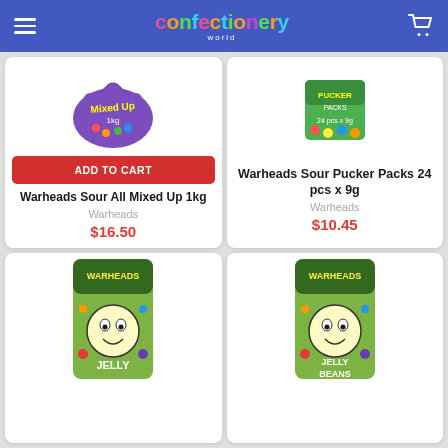Confectionery World
[Figure (photo): Warheads Sour All Mixed Up 1kg purple candy bag product image]
ADD TO CART
Warheads Sour All Mixed Up 1kg
Warheads
$16.50
[Figure (photo): Warheads Sour Pucker Packs 24 pcs x 9g green box product image]
Warheads Sour Pucker Packs 24 pcs x 9g
Warheads
$10.45
[Figure (photo): Warheads Jelly Beans green bag product image, partially visible]
[Figure (photo): Warheads Jelly Beans green bag product image, partially visible]